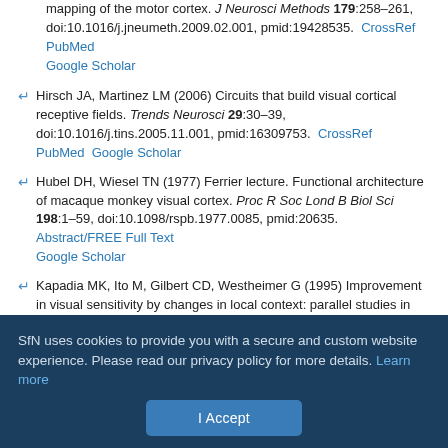mapping of the motor cortex. J Neurosci Methods 179:258–261, doi:10.1016/j.jneumeth.2009.02.001, pmid:19428535. CrossRef PubMed Google Scholar
Hirsch JA, Martinez LM (2006) Circuits that build visual cortical receptive fields. Trends Neurosci 29:30–39, doi:10.1016/j.tins.2005.11.001, pmid:16309753. CrossRef PubMed Google Scholar
Hubel DH, Wiesel TN (1977) Ferrier lecture. Functional architecture of macaque monkey visual cortex. Proc R Soc Lond B Biol Sci 198:1–59, doi:10.1098/rspb.1977.0085, pmid:20635. Abstract/FREE Full Text Google Scholar
Kapadia MK, Ito M, Gilbert CD, Westheimer G (1995) Improvement in visual sensitivity by changes in local context: parallel studies in human observers and in V1 of alert monkeys. Neuron 15:843–856, doi:10.1016/0896-6273(95)90175-2, pmid:7576633. CrossRef PubMed Google Scholar
SfN uses cookies to provide you with a secure and custom website experience. Please read our privacy policy for more details. Learn more